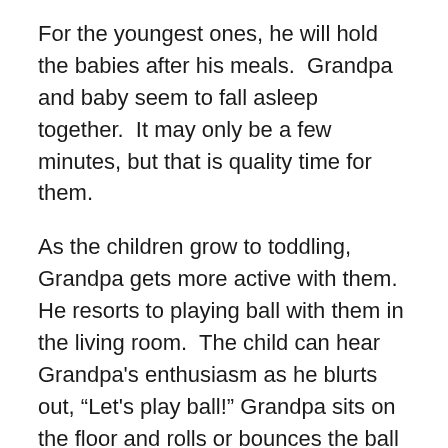For the youngest ones, he will hold the babies after his meals.  Grandpa and baby seem to fall asleep together.  It may only be a few minutes, but that is quality time for them.
As the children grow to toddling, Grandpa gets more active with them.  He resorts to playing ball with them in the living room.  The child can hear Grandpa's enthusiasm as he blurts out, “Let's play ball!” Grandpa sits on the floor and rolls or bounces the ball to his little partner.  Sometimes Grandpa can’t find the ball.
“Why is that?” you might ask.  When the kids stand close to him, he slips the ball inside the little one’s shirt.  Grandpa and the children, Grandpa and